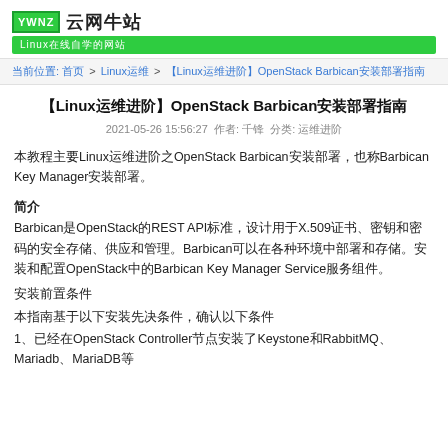[Figure (logo): YWNZ 云网牛站 logo with green box and subtitle Linux在线自学的网站]
当前位置: 首页 > Linux运维 > 【Linux运维进阶】OpenStack Barbican安装部署指南
【Linux运维进阶】OpenStack Barbican安装部署指南
2021-05-26 15:56:27  作者: 千锋  分类: 运维进阶
本教程主要Linux运维进阶之OpenStack Barbican安装部署，也称Barbican Key Manager安装部署。
简介
Barbican是OpenStack的REST API标准，设计用于X.509证书、密钥和密码的安全存储、供应和管理。Barbican可以在各种环境中部署和存储。安装和配置OpenStack中的Barbican Key Manager Service服务组件。
安装前置条件
本指南基于以下安装先决条件，确认以下条件
1、已经在OpenStack Controller节点安装了Keystone和RabbitMQ、Mariadb、MariaDB等